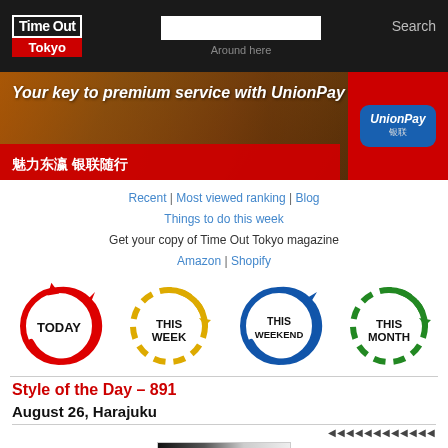[Figure (logo): Time Out Tokyo logo in header]
Search
Around here
[Figure (photo): UnionPay banner advertisement with Japanese temple background. Text: 'Your key to premium service with UnionPay' and Chinese text '魅力东瀛 银联随行']
Recent | Most viewed ranking | Blog
Things to do this week
Get your copy of Time Out Tokyo magazine
Amazon | Shopify
[Figure (infographic): Four circular arrow icons labeled TODAY (red), THIS WEEK (yellow), THIS WEEKEND (blue), THIS MONTH (green)]
Style of the Day – 891
August 26, Harajuku
◀◀◀◀◀◀ ▶▶▶▶▶